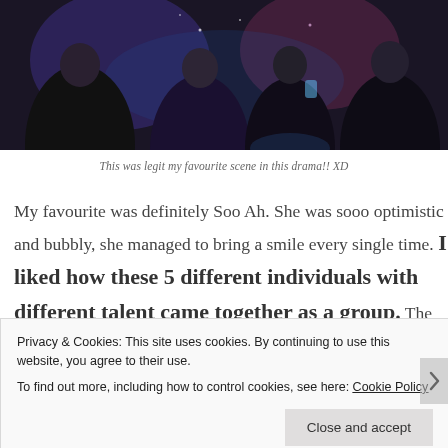[Figure (photo): Photo of people at a nightclub or party scene, dark background with colorful lighting, figures in black outfits holding drinks]
This was legit my favourite scene in this drama!! XD
My favourite was definitely Soo Ah. She was sooo optimistic and bubbly, she managed to bring a smile every single time. I liked how these 5 different individuals with different talent came together as a group. The
Privacy & Cookies: This site uses cookies. By continuing to use this website, you agree to their use.
To find out more, including how to control cookies, see here: Cookie Policy